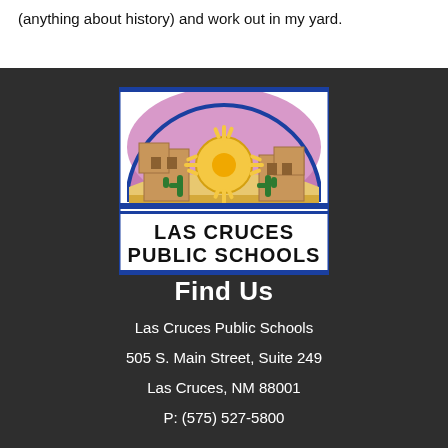(anything about history) and work out in my yard.
[Figure (logo): Las Cruces Public Schools logo — semicircular illustration of adobe buildings, desert landscape with cacti, and a Zia sun symbol, with 'LAS CRUCES PUBLIC SCHOOLS' text below on white background with blue borders.]
Find Us
Las Cruces Public Schools
505 S. Main Street, Suite 249
Las Cruces, NM 88001
P: (575) 527-5800